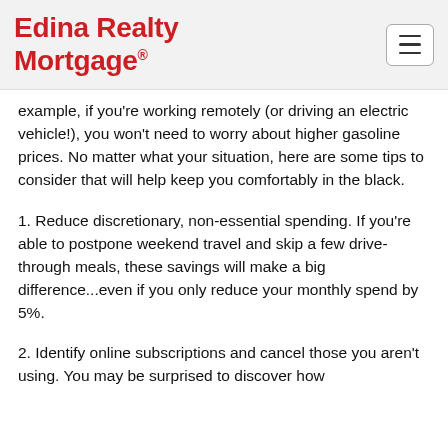Edina Realty Mortgage®
example, if you're working remotely (or driving an electric vehicle!), you won't need to worry about higher gasoline prices. No matter what your situation, here are some tips to consider that will help keep you comfortably in the black.
1. Reduce discretionary, non-essential spending. If you're able to postpone weekend travel and skip a few drive-through meals, these savings will make a big difference...even if you only reduce your monthly spend by 5%.
2. Identify online subscriptions and cancel those you aren't using. You may be surprised to discover how